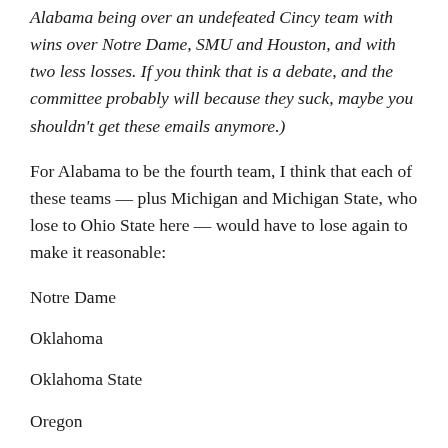Alabama being over an undefeated Cincy team with wins over Notre Dame, SMU and Houston, and with two less losses. If you think that is a debate, and the committee probably will because they suck, maybe you shouldn't get these emails anymore.)
For Alabama to be the fourth team, I think that each of these teams — plus Michigan and Michigan State, who lose to Ohio State here — would have to lose again to make it reasonable:
Notre Dame
Oklahoma
Oklahoma State
Oregon